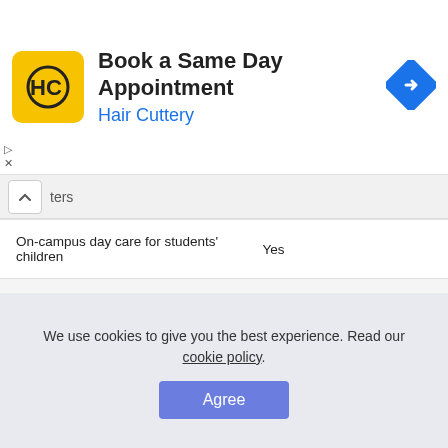[Figure (screenshot): Hair Cuttery ad banner: 'Book a Same Day Appointment' with HC logo and navigation icon]
ters
|  |  |
| --- | --- |
| On-campus day care for students' children | Yes |
| Library facilities at institution | Various Library Facilities Provided |
We use cookies to give you the best experience. Read our cookie policy.